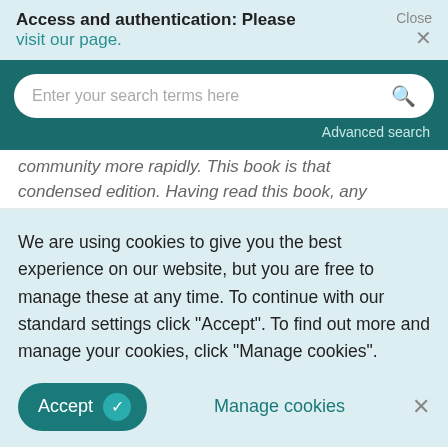Access and authentication: Please visit our page.
Enter your search terms here
Advanced search
community more rapidly. This book is that condensed edition. Having read this book, any
We are using cookies to give you the best experience on our website, but you are free to manage these at any time. To continue with our standard settings click "Accept". To find out more and manage your cookies, click "Manage cookies".
Accept
Manage cookies
observations, leaving the reader to contemplate the deeper issues. For instance, on global warming